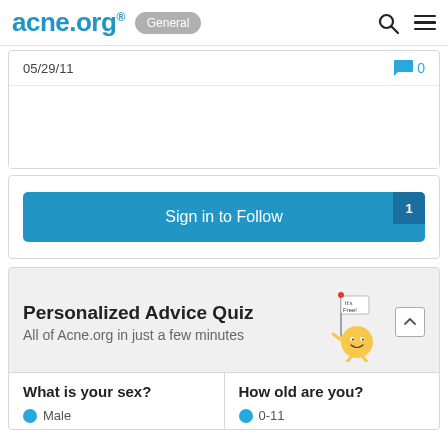acne.org® General
05/29/11
0
Sign in to Follow
Personalized Advice Quiz
All of Acne.org in just a few minutes
What is your sex?
How old are you?